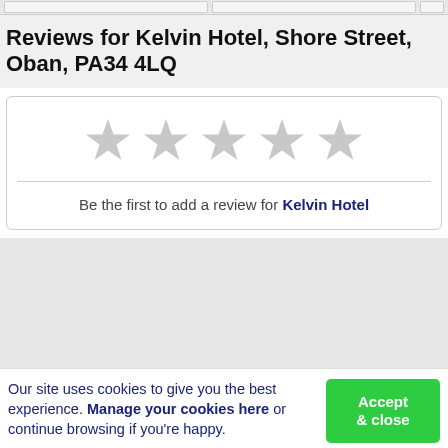Reviews for Kelvin Hotel, Shore Street, Oban, PA34 4LQ
[Figure (illustration): Five empty/unfilled star rating icons arranged in a row, gray colored]
Be the first to add a review for Kelvin Hotel
Our site uses cookies to give you the best experience. Manage your cookies here or continue browsing if you're happy.